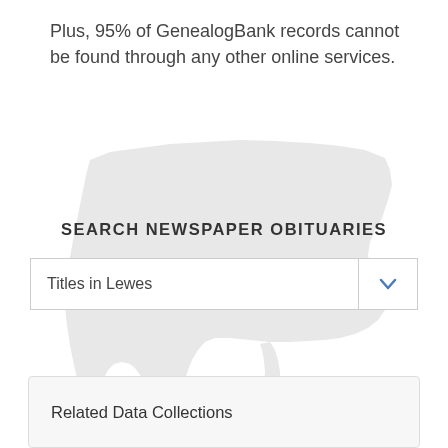Plus, 95% of GenealogBank records cannot be found through any other online services.
[Figure (map): Light gray silhouette map of the contiguous United States as a background graphic]
SEARCH NEWSPAPER OBITUARIES
Titles in Lewes
Related Data Collections